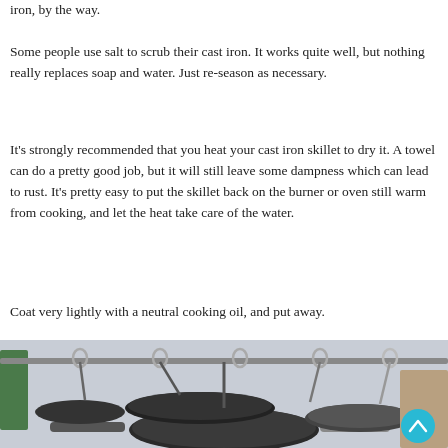iron, by the way.
Some people use salt to scrub their cast iron. It works quite well, but nothing really replaces soap and water. Just re-season as necessary.
It's strongly recommended that you heat your cast iron skillet to dry it. A towel can do a pretty good job, but it will still leave some dampness which can lead to rust. It's pretty easy to put the skillet back on the burner or oven still warm from cooking, and let the heat take care of the water.
Coat very lightly with a neutral cooking oil, and put away.
[Figure (photo): Photo of multiple cast iron and dark skillets/pans hanging from a rack, viewed from below, with kitchen background visible.]